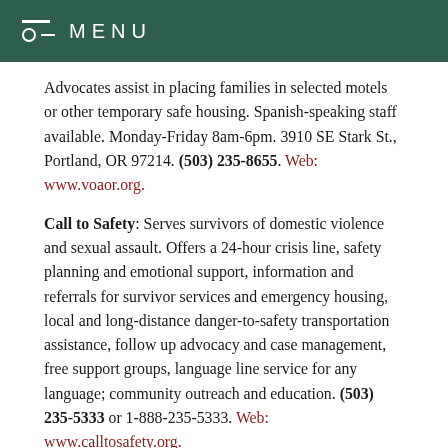MENU
Advocates assist in placing families in selected motels or other temporary safe housing. Spanish-speaking staff available. Monday-Friday 8am-6pm. 3910 SE Stark St., Portland, OR 97214. (503) 235-8655. Web: www.voaor.org.
Call to Safety: Serves survivors of domestic violence and sexual assault. Offers a 24-hour crisis line, safety planning and emotional support, information and referrals for survivor services and emergency housing, local and long-distance danger-to-safety transportation assistance, follow up advocacy and case management, free support groups, language line service for any language; community outreach and education. (503) 235-5333 or 1-888-235-5333. Web: www.calltosafety.org.